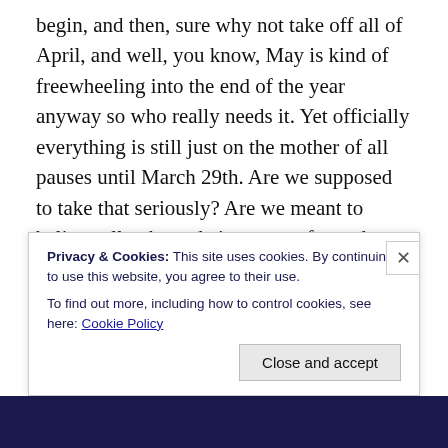begin, and then, sure why not take off all of April, and well, you know, May is kind of freewheeling into the end of the year anyway so who really needs it. Yet officially everything is still just on the mother of all pauses until March 29th. Are we supposed to take that seriously? Are we meant to believe all pubs and cinemas, cafes and theatres will re-open on that day and we all breathe a sigh of relief that we shut down that pesky coronavirus good? How does it help to keep the citizens of the country engaged in an idiotic guessing game? When will the actual status red lockdown begin? March 30th? April 1st? What is
Privacy & Cookies: This site uses cookies. By continuing to use this website, you agree to their use.
To find out more, including how to control cookies, see here: Cookie Policy